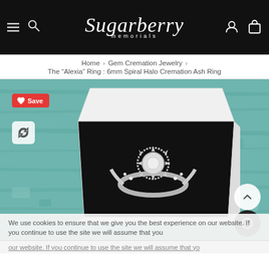Sugarberry memorials
Home > Gem Cremation Jewelry > The "Alexia" Ring : 6mm Spiral Halo Cremation Ash Ring
[Figure (photo): A silver spiral halo cremation ash ring with crystals displayed in an open white jewelry box with black interior, placed on a teal/mint distressed wood background. Pinterest Save button and refresh icon overlaid top-left. Navigation arrows overlaid bottom-right.]
We use cookies to ensure that we give you the best experience on our website. If you continue to use the site we will assume that you